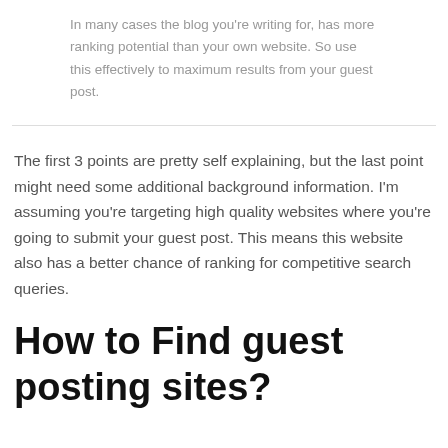In many cases the blog you're writing for, has more ranking potential than your own website. So use this effectively to maximum results from your guest post.
The first 3 points are pretty self explaining, but the last point might need some additional background information. I'm assuming you're targeting high quality websites where you're going to submit your guest post. This means this website also has a better chance of ranking for competitive search queries.
How to Find guest posting sites?